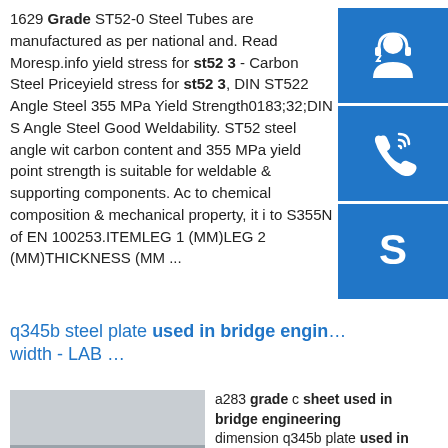1629 Grade ST52-0 Steel Tubes are manufactured as per national and. Read Moresp.info yield stress for st52 3 - Carbon Steel Priceyield stress for st52 3, DIN ST522 Angle Steel 355 MPa Yield Strength0183;32;DIN S Angle Steel Good Weldability. ST52 steel angle with carbon content and 355 MPa yield point strength is suitable for weldable & supporting components. Ac to chemical composition & mechanical property, it i to S355N of EN 100253.ITEMLEG 1 (MM)LEG 2 (MM)THICKNESS (MM ...
[Figure (other): Blue sidebar icons: headset/customer support icon, phone/call icon, Skype icon]
q345b steel plate used in bridge engineering width - LAB ...
[Figure (photo): Photo of steel coils in a warehouse, large metal coils stacked, one with yellow/gold covering]
a283 grade c sheet used in bridge engineering dimension q345b plate used in bridge engineering chemical composition bridge. belongs to high